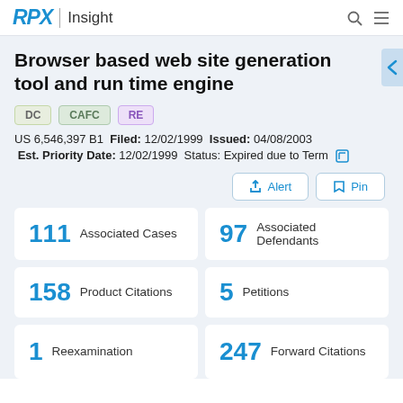RPX Insight
Browser based web site generation tool and run time engine
DC  CAFC  RE
US 6,546,397 B1  Filed: 12/02/1999  Issued: 04/08/2003
Est. Priority Date: 12/02/1999  Status: Expired due to Term
Alert  Pin
111 Associated Cases
97 Associated Defendants
158 Product Citations
5 Petitions
1 Reexamination
247 Forward Citations